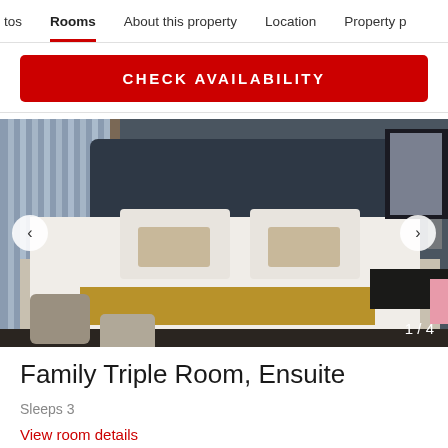tos   Rooms   About this property   Location   Property p
CHECK AVAILABILITY
[Figure (photo): Hotel bedroom photo showing a large bed with white linens, gold/brown throw blanket at foot, decorative pillows, bedside lamps, vertical blinds on window, dark upholstered headboard. Navigation arrows on left and right sides. Image counter '1 / 4' in bottom right corner.]
Family Triple Room, Ensuite
Sleeps 3
View room details